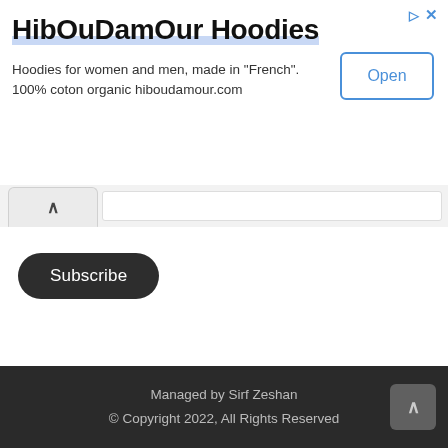[Figure (screenshot): Advertisement banner for HibOuDamOur Hoodies with title, description, and Open button]
HibOuDamOur Hoodies
Hoodies for women and men, made in "French". 100% coton organic hiboudamour.com
Subscribe
Managed by Sirf Zeshan
© Copyright 2022, All Rights Reserved